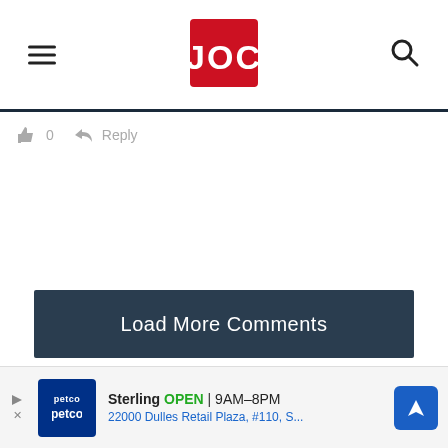JOC
👍 0  ➤ Reply
Load More Comments
OUR FAVORITES!
[Figure (photo): Blue and white striped ceramic bowl on the left, and a decorative Japanese fan with floral pattern on the right]
[Figure (infographic): Petco advertisement banner: Sterling OPEN 9AM–8PM, 22000 Dulles Retail Plaza, #110, S...]